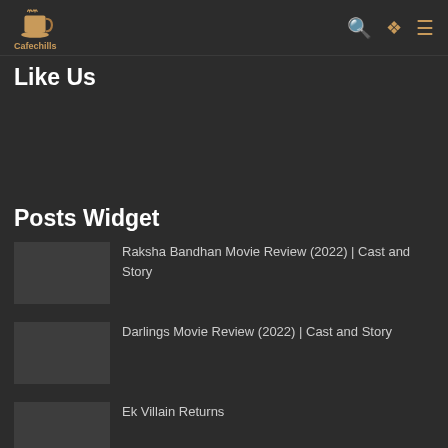Cafechills
Like Us
Posts Widget
Raksha Bandhan Movie Review (2022) | Cast and Story
Darlings Movie Review (2022) | Cast and Story
Ek Villain Returns